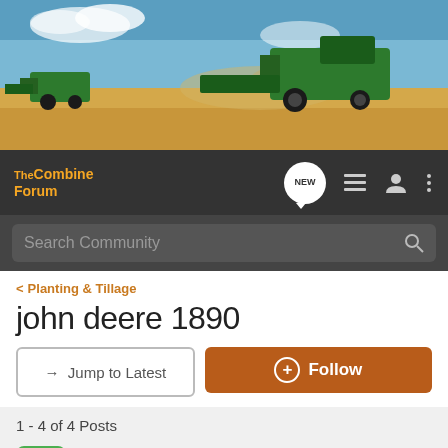[Figure (photo): Agricultural combine harvesters working in a golden wheat field under a blue sky with dust rising]
The Combine Forum
Search Community
< Planting & Tillage
john deere 1890
→ Jump to Latest
+ Follow
1 - 4 of 4 Posts
shorty · Registered
Joined Dec 5, 2008 · 75 Posts